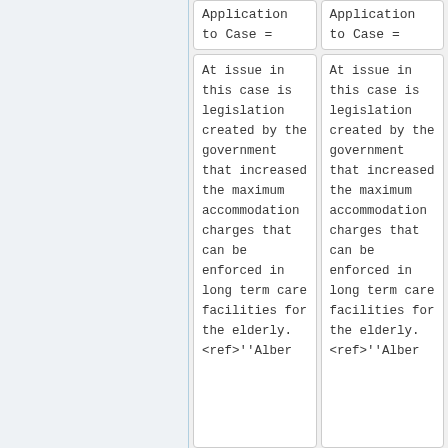| Application to Case = | Application to Case = |
| --- | --- |
| At issue in this case is legislation created by the government that increased the maximum accommodation charges that can be enforced in long term care facilities for the elderly. <ref>''Alber | At issue in this case is legislation created by the government that increased the maximum accommodation charges that can be enforced in long term care facilities for the elderly. <ref>''Alber |